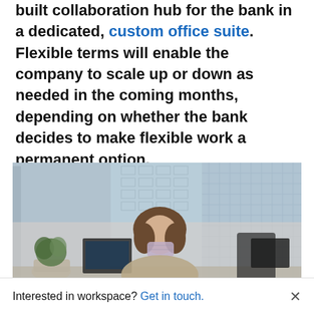built collaboration hub for the bank in a dedicated, custom office suite. Flexible terms will enable the company to scale up or down as needed in the coming months, depending on whether the bank decides to make flexible work a permanent option.
[Figure (photo): A woman wearing a face mask sits at a desk in a modern office with floor-to-ceiling windows overlooking a city skyline.]
Interested in workspace? Get in touch.